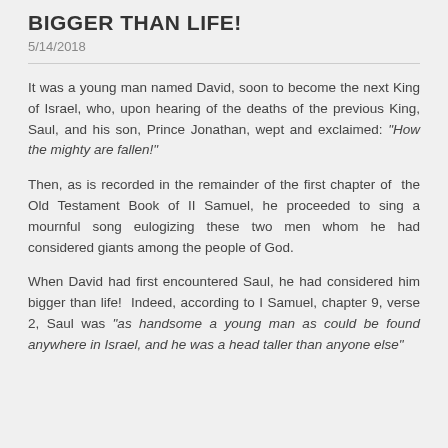BIGGER THAN LIFE!
5/14/2018
It was a young man named David, soon to become the next King of Israel, who, upon hearing of the deaths of the previous King, Saul, and his son, Prince Jonathan, wept and exclaimed: “How the mighty are fallen!”
Then, as is recorded in the remainder of the first chapter of the Old Testament Book of II Samuel, he proceeded to sing a mournful song eulogizing these two men whom he had considered giants among the people of God.
When David had first encountered Saul, he had considered him bigger than life! Indeed, according to I Samuel, chapter 9, verse 2, Saul was “as handsome a young man as could be found anywhere in Israel, and he was a head taller than anyone else”